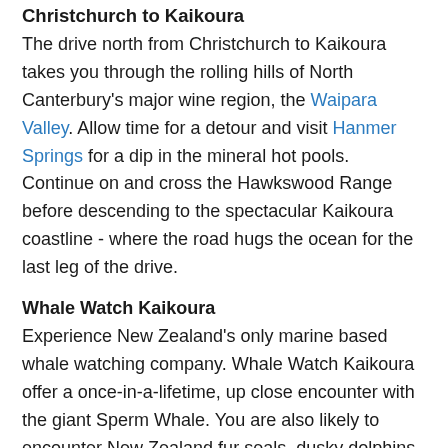Christchurch to Kaikoura
The drive north from Christchurch to Kaikoura takes you through the rolling hills of North Canterbury's major wine region, the Waipara Valley. Allow time for a detour and visit Hanmer Springs for a dip in the mineral hot pools. Continue on and cross the Hawkswood Range before descending to the spectacular Kaikoura coastline - where the road hugs the ocean for the last leg of the drive.
Whale Watch Kaikoura
Experience New Zealand's only marine based whale watching company. Whale Watch Kaikoura offer a once-in-a-lifetime, up close encounter with the giant Sperm Whale. You are also likely to encounter New Zealand fur seals, dusky dolphins and albatross. Depending on the season you may also see pilot, blue and southern right whales as well as migrating humpbacks. Often orcas can be spotted here and the world's smallest dolphin, the Hectors, occasionally make an appearance.
Cruise in style on modern catamarans, specifically designed for